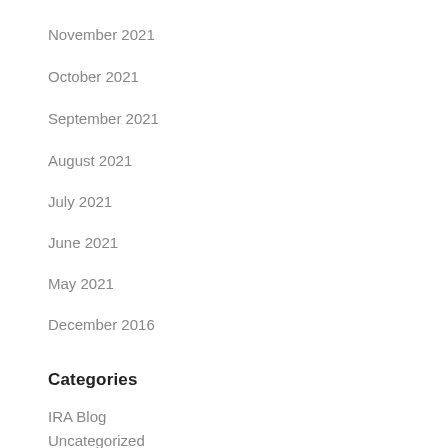November 2021
October 2021
September 2021
August 2021
July 2021
June 2021
May 2021
December 2016
Categories
IRA Blog
Uncategorized